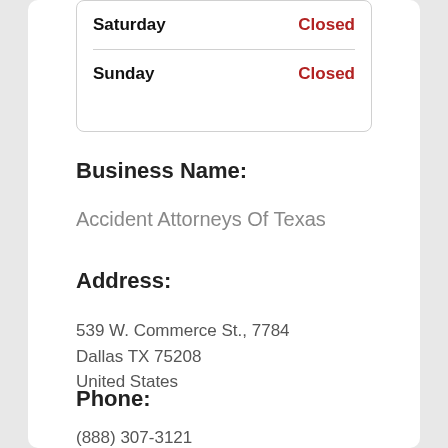| Day | Status |
| --- | --- |
| Saturday | Closed |
| Sunday | Closed |
Business Name:
Accident Attorneys Of Texas
Address:
539 W. Commerce St., 7784
Dallas TX 75208
United States
Phone:
(888) 307-3121